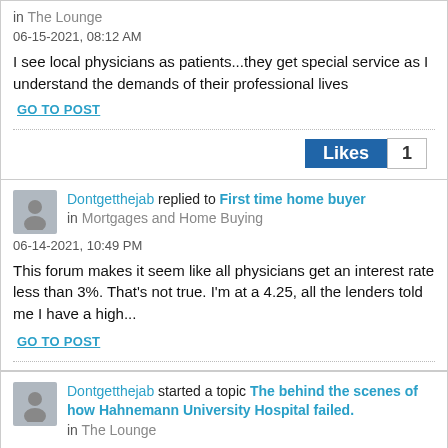in The Lounge
06-15-2021, 08:12 AM
I see local physicians as patients...they get special service as I understand the demands of their professional lives
GO TO POST
Likes 1
Dontgetthejab replied to First time home buyer in Mortgages and Home Buying
06-14-2021, 10:49 PM
This forum makes it seem like all physicians get an interest rate less than 3%. That's not true. I'm at a 4.25, all the lenders told me I have a high...
GO TO POST
Dontgetthejab started a topic The behind the scenes of how Hahnemann University Hospital failed. in The Lounge
06-14-2021, 08:12 PM